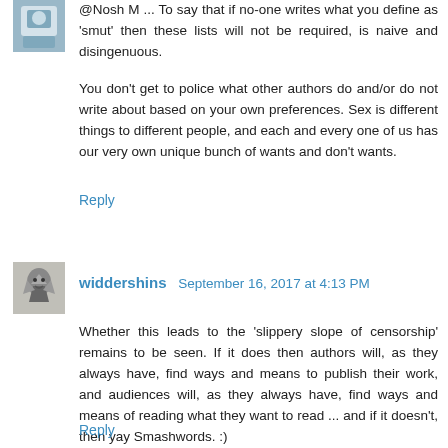@Nosh M ... To say that if no-one writes what you define as 'smut' then these lists will not be required, is naive and disingenuous.
You don't get to police what other authors do and/or do not write about based on your own preferences. Sex is different things to different people, and each and every one of us has our very own unique bunch of wants and don't wants.
Reply
widdershins  September 16, 2017 at 4:13 PM
Whether this leads to the 'slippery slope of censorship' remains to be seen. If it does then authors will, as they always have, find ways and means to publish their work, and audiences will, as they always have, find ways and means of reading what they want to read ... and if it doesn't, then yay Smashwords. :)
Reply